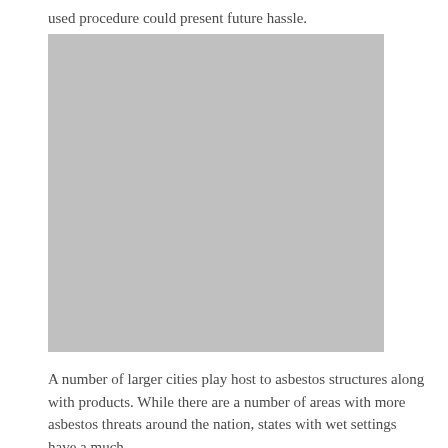used procedure could present future hassle.
[Figure (photo): A large gray placeholder image rectangle]
A number of larger cities play host to asbestos structures along with products. While there are a number of areas with more asbestos threats around the nation, states with wet settings have a much